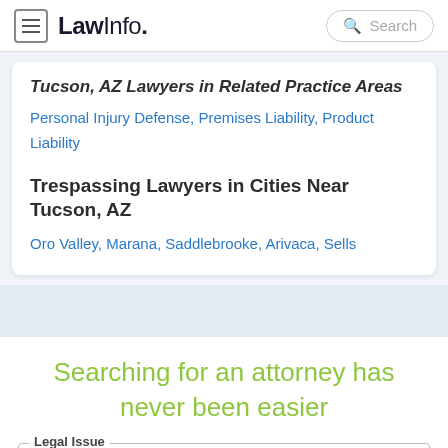LawInfo. Search
Tucson, AZ Lawyers in Related Practice Areas
Personal Injury Defense, Premises Liability, Product Liability
Trespassing Lawyers in Cities Near Tucson, AZ
Oro Valley, Marana, Saddlebrooke, Arivaca, Sells
Searching for an attorney has never been easier
Legal Issue